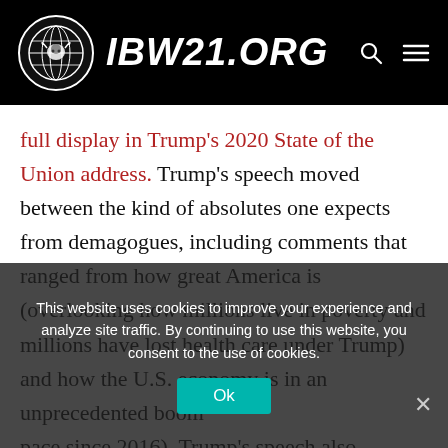IBW21.ORG
full display in Trump’s 2020 State of the Union address. Trump’s speech moved between the kind of absolutes one expects from demagogues, including comments that ranged from how great America is (overlooking how millions live in poverty and millions have lost health care under Trump) and how the U.S. economy is in an unprecedented boom pace since 2016). Trump’s speech also included outrageous false claims about
This website uses cookies to improve your experience and analyze site traffic. By continuing to use this website, you consent to the use of cookies.